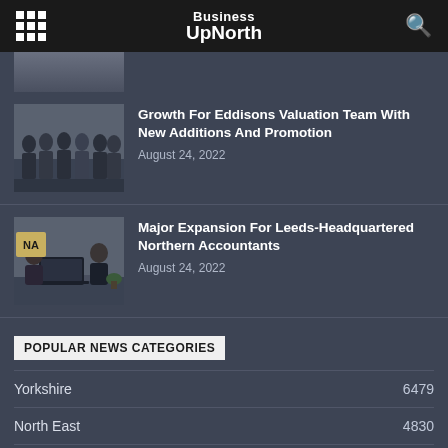Business UpNorth
[Figure (photo): Partial article thumbnail at top of page]
[Figure (photo): Group photo of Eddisons Valuation Team members in formal/business attire]
Growth For Eddisons Valuation Team With New Additions And Promotion
August 24, 2022
[Figure (photo): Two people at a desk with a laptop, Northern Accountants office with NA logo visible]
Major Expansion For Leeds-Headquartered Northern Accountants
August 24, 2022
POPULAR NEWS CATEGORIES
Yorkshire 6479
North East 4830
North West 4573